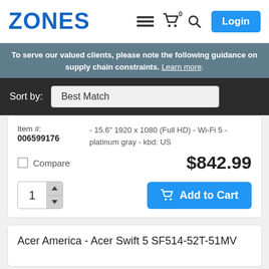ZONES
To serve our valued clients, please note the following guidance on supply chain constraints. Learn more.
Sort by: Best Match
Item #: 006599176
- 15.6" 1920 x 1080 (Full HD) - Wi-Fi 5 - platinum gray - kbd: US
$842.99
Compare
1
Add to Cart
Acer America - Acer Swift 5 SF514-52T-51MV